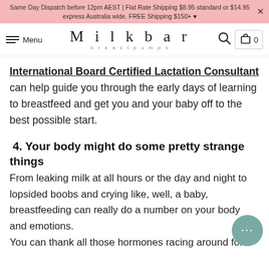Same Day Dispatch before 12pm AEST | Flat Rate Shipping $8.95 standard or $14.95 express Australia wide. FREE Shipping $150+ ♥
Menu | Milkbar breastpumps | 0
International Board Certified Lactation Consultant can help guide you through the early days of learning to breastfeed and get you and your baby off to the best possible start.
4. Your body might do some pretty strange things
From leaking milk at all hours or the day and night to lopsided boobs and crying like, well, a baby, breastfeeding can really do a number on your body and emotions.
You can thank all those hormones racing around for